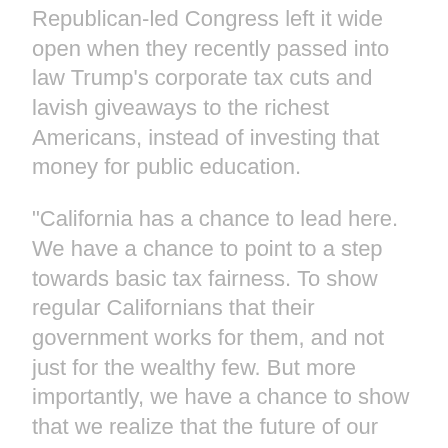Republican-led Congress left it wide open when they recently passed into law Trump's corporate tax cuts and lavish giveaways to the richest Americans, instead of investing that money for public education.
"California has a chance to lead here. We have a chance to point to a step towards basic tax fairness. To show regular Californians that their government works for them, and not just for the wealthy few. But more importantly, we have a chance to show that we realize that the future of our economy is intrinsically linked to our focus on education" says Rich Boberg, Patriotic Millionaire.
“Public education is a human right guaranteed to all by the state constitution and we must fight now to reinvest and end the disparity in the unjust public school funding structure that currently exist, which puts California near the bottom in per student funding,” says Hilda Rodriguez-Guzman, parent leader with the